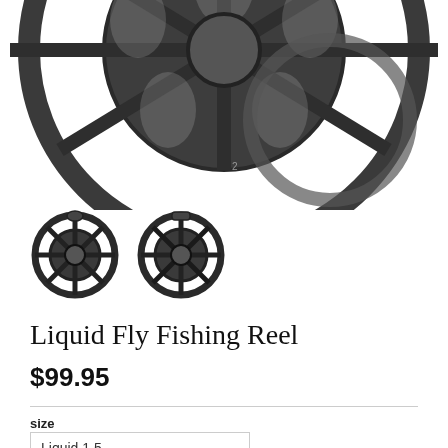[Figure (photo): Large product photo of a dark gray/black fly fishing reel shown partially from above, centered at top of page]
[Figure (photo): Two thumbnail photos of the Liquid Fly Fishing Reel side by side — left thumbnail shows front view, right thumbnail shows side view]
Liquid Fly Fishing Reel
$99.95
size
Liquid 1.5
ADD TO CART